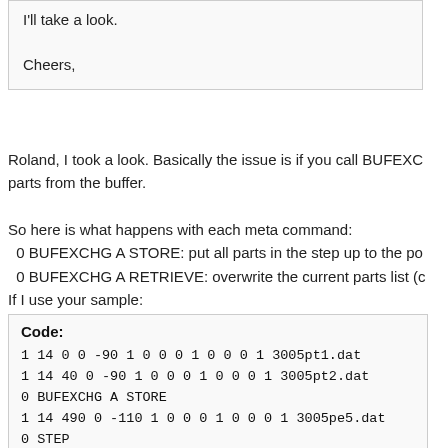I'll take a look.

Cheers,
Roland, I took a look. Basically the issue is if you call BUFEXCHG parts from the buffer.
So here is what happens with each meta command:
  0 BUFEXCHG A STORE: put all parts in the step up to the po
  0 BUFEXCHG A RETRIEVE: overwrite the current parts list (c
If I use your sample:
Code:
1 14 0 0 -90 1 0 0 0 1 0 0 0 1 3005pt1.dat
1 14 40 0 -90 1 0 0 0 1 0 0 0 1 3005pt2.dat
0 BUFEXCHG A STORE
1 14 490 0 -110 1 0 0 0 1 0 0 0 1 3005pe5.dat
0 STEP
1 14 490 0 -110 1 0 0 0 1 0 0 0 1 3005pe5.dat
0 BUFEXCHG A RETRIEVE
1 14 80 0 -90 1 0 0 0 1 0 0 0 1 3005pt3.dat
1 14 120 0 -90 1 0 0 0 1 0 0 0 1 3005pt4.dat